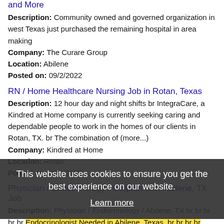and More
Description: Community owned and governed organization in west Texas just purchased the remaining hospital in area making
Company: The Curare Group
Location: Abilene
Posted on: 09/2/2022
RN / Home Healthcare Nursing Job in Rotan, Texas
Description: 12 hour day and night shifts br IntegraCare, a Kindred at Home company is currently seeking caring and dependable people to work in the homes of our clients in Rotan, TX. br The combination of (more...)
Company: Kindred at Home
Location: Rotan
Posted on: 09/2/2022
Physician / Endocrinology / Outpatient / Abilene, TX Job
Description: Physician / Endocrinology / Abilene, TX br br br br br Endocrinologist Needed in Abilene, Texas. br br br br Endocrinologist needed to practice at the largest regional medical center
Company: Murdock Consulting
Location: Abilene
This website uses cookies to ensure you get the best experience on our website.
Learn more
Got it!